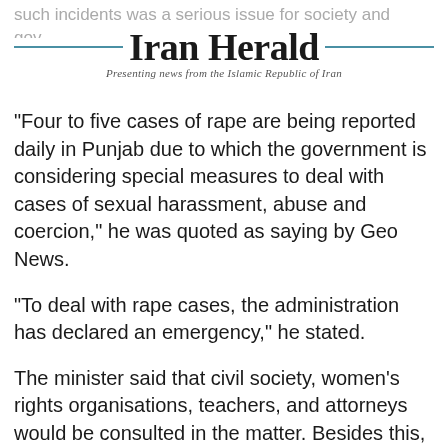such incidents was a serious issue for society and gov...
Iran Herald
Presenting news from the Islamic Republic of Iran
"Four to five cases of rape are being reported daily in Punjab due to which the government is considering special measures to deal with cases of sexual harassment, abuse and coercion," he was quoted as saying by Geo News.
"To deal with rape cases, the administration has declared an emergency," he stated.
The minister said that civil society, women's rights organisations, teachers, and attorneys would be consulted in the matter. Besides this, he urged parents to teach their children about the importance of safety.
Tarar stated that the accused in a number of cases had been detained, the government had launched an